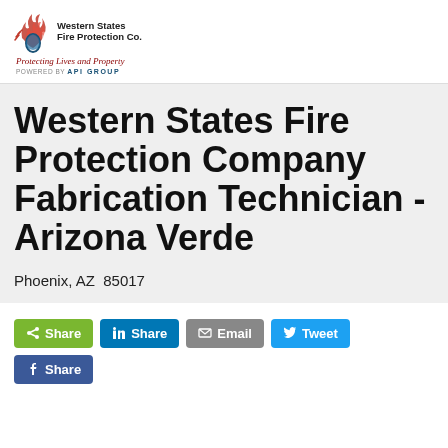[Figure (logo): Western States Fire Protection Co. logo with flame and water drop icon, tagline 'Protecting Lives and Property', powered by API GROUP]
Western States Fire Protection Company Fabrication Technician - Arizona Verde
Phoenix, AZ  85017
[Figure (infographic): Social share buttons: Share (green), Share on LinkedIn (blue), Email (gray), Tweet (Twitter blue), Share on Facebook (blue)]